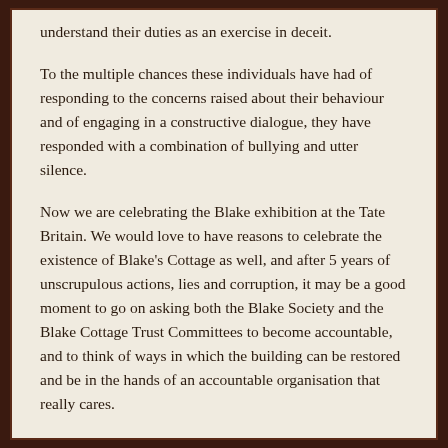understand their duties as an exercise in deceit.

To the multiple chances these individuals have had of responding to the concerns raised about their behaviour and of engaging in a constructive dialogue, they have responded with a combination of bullying and utter silence.

Now we are celebrating the Blake exhibition at the Tate Britain. We would love to have reasons to celebrate the existence of Blake's Cottage as well, and after 5 years of unscrupulous actions, lies and corruption, it may be a good moment to go on asking both the Blake Society and the Blake Cottage Trust Committees to become accountable, and to think of ways in which the building can be restored and be in the hands of an accountable organisation that really cares.